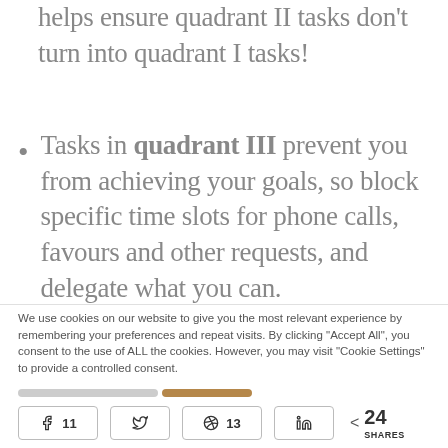helps ensure quadrant II tasks don't turn into quadrant I tasks!
Tasks in quadrant III prevent you from achieving your goals, so block specific time slots for phone calls, favours and other requests, and delegate what you can.
We use cookies on our website to give you the most relevant experience by remembering your preferences and repeat visits. By clicking "Accept All", you consent to the use of ALL the cookies. However, you may visit "Cookie Settings" to provide a controlled consent.